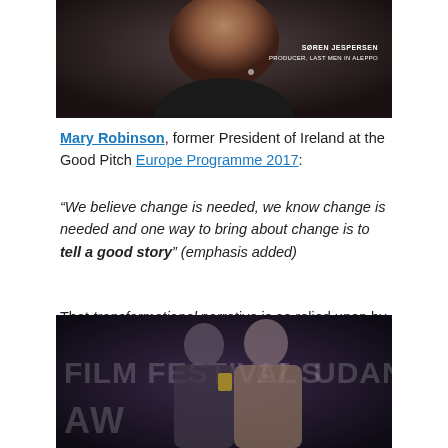[Figure (photo): Photo of a man speaking, with overlay text: SØREN JESPERSEN, PRODUCER, LAST MEN IN ALEPPO]
Mary Robinson, former President of Ireland at the Good Pitch Europe Programme 2017:
“We believe change is needed, we know change is needed and one way to bring about change is to tell a good story” (emphasis added)
That transformational narrative is so relied upon by those invested in “humanitarian R2P wars” that have led to the serial devastation of sovereign nations from Libya to Iraq to Syria and beyond.
[Figure (photo): Two men at a Sundance Film Festival 2017 awards ceremony, one presenting an award to the other.]